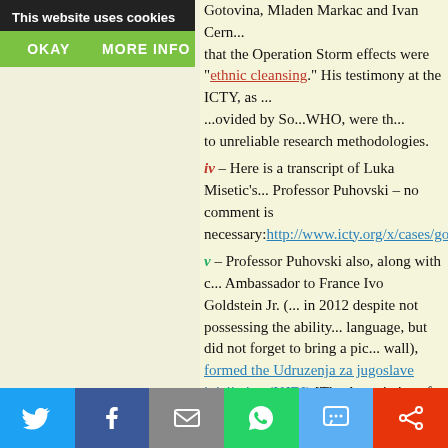Cookie banner overlay: This website uses cookies | OKAY | MORE INFO
Gotovina, Mladen Markac and Ivan Cerm... that the Operation Storm effects were "ethnic cleansing." His testimony at the ICTY, as ...ovided by So...WHO, were th... to unreliable research methodologies.
iv – Here is a transcript of Luka Misetic's... Professor Puhovski – no comment is necessary: http://www.icty.org/x/cases/go...
v – Professor Puhovski also, along with... Ambassador to France Ivo Goldstein Jr. (... in 2012 despite not possessing the ability... language, but did not forget to bring a pic... wall), formed the Udruzenja za jugoslave inicijativu (UJDI) [The Associations for th... Initiative], a political front party for the Y... General Staff that was against Croatian in... European and NATO integration, two of H... strategic objectives.